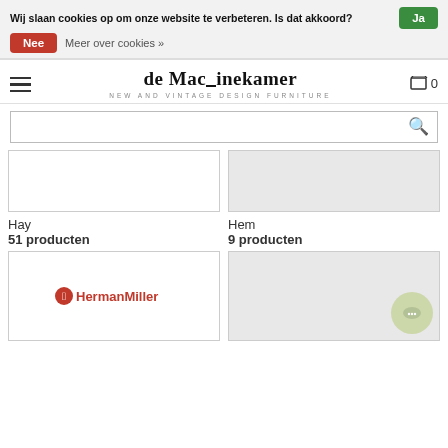Wij slaan cookies op om onze website te verbeteren. Is dat akkoord? Ja
Nee  Meer over cookies »
[Figure (logo): de Machinekamer logo with tagline NEW AND VINTAGE DESIGN FURNITURE]
🛒 0
Search bar
Hay
51 producten
Hem
9 producten
[Figure (logo): Herman Miller red logo]
[Figure (photo): Gray product thumbnail with chat bubble overlay]